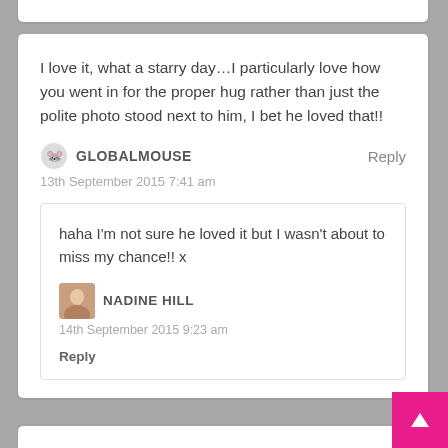I love it, what a starry day…I particularly love how you went in for the proper hug rather than just the polite photo stood next to him, I bet he loved that!!
GLOBALMOUSE
13th September 2015 7:41 am
haha I'm not sure he loved it but I wasn't about to miss my chance!! x
NADINE HILL
14th September 2015 9:23 am
Reply